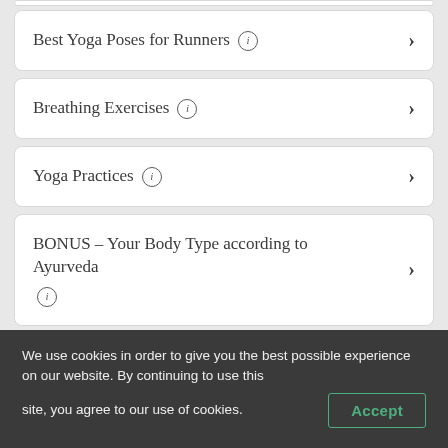Best Yoga Poses for Runners
Breathing Exercises
Yoga Practices
BONUS – Your Body Type according to Ayurveda
We use cookies in order to give you the best possible experience on our website. By continuing to use this site, you agree to our use of cookies.
Accept